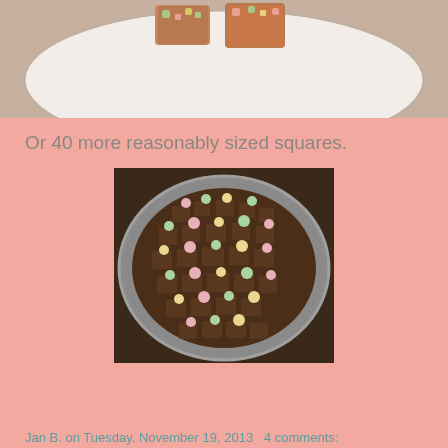[Figure (photo): Partial top view of food items (marshmallow chocolate squares) on a decorative plate, cropped at top of page]
Or 40 more reasonably sized squares.
[Figure (photo): Overhead view of chocolate rocky road fudge squares with colorful mini marshmallows (pink, green, yellow) in a round aluminum foil pan on a dark wooden surface]
Jan B. on Tuesday, November 19, 2013   4 comments: